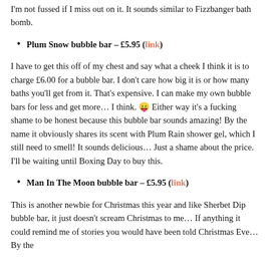I'm not fussed if I miss out on it. It sounds similar to Fizzbanger bath bomb.
Plum Snow bubble bar – £5.95 (link)
I have to get this off of my chest and say what a cheek I think it is to charge £6.00 for a bubble bar. I don't care how big it is or how many baths you'll get from it. That's expensive. I can make my own bubble bars for less and get more… I think. 😛 Either way it's a fucking shame to be honest because this bubble bar sounds amazing! By the name it obviously shares its scent with Plum Rain shower gel, which I still need to smell! It sounds delicious… Just a shame about the price. I'll be waiting until Boxing Day to buy this.
Man In The Moon bubble bar – £5.95 (link)
This is another newbie for Christmas this year and like Sherbet Dip bubble bar, it just doesn't scream Christmas to me… If anything it could remind me of stories you would have been told Christmas Eve… By the